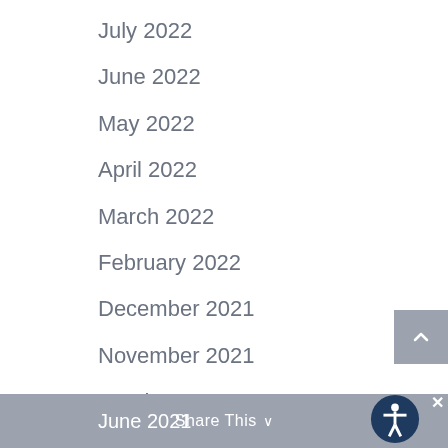July 2022
June 2022
May 2022
April 2022
March 2022
February 2022
December 2021
November 2021
October 2021
September 2021
August 2021
July 2021
June 2021  Share This  ✕